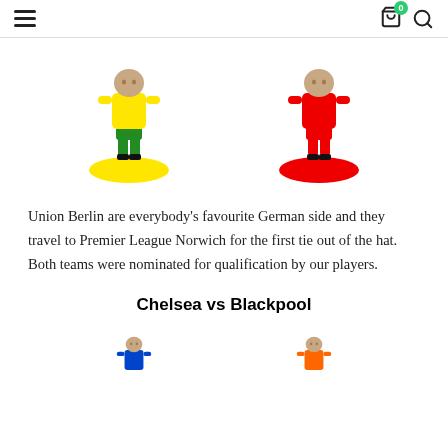Navigation header with hamburger menu, cart icon (badge: 0), and search icon
[Figure (illustration): Two Subbuteo-style footballer figurines: left one in yellow shirt, green shorts, black boots on yellow base; right one in red shirt, red shorts, black boots on red base]
Union Berlin are everybody's favourite German side and they travel to Premier League Norwich for the first tie out of the hat. Both teams were nominated for qualification by our players.
Chelsea vs Blackpool
[Figure (illustration): Two Subbuteo-style footballer figurines partially visible: left one in blue shirt, right one in orange shirt]